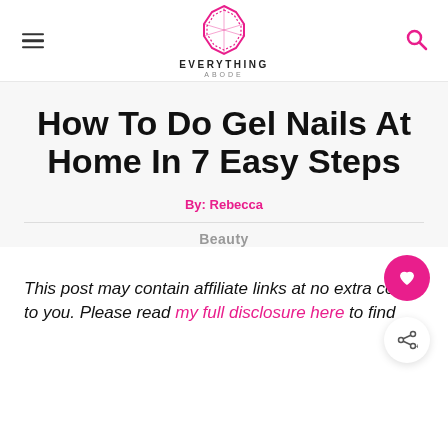EVERYTHING ABODE
How To Do Gel Nails At Home In 7 Easy Steps
By: Rebecca
Beauty
This post may contain affiliate links at no extra cost to you. Please read my full disclosure here to find